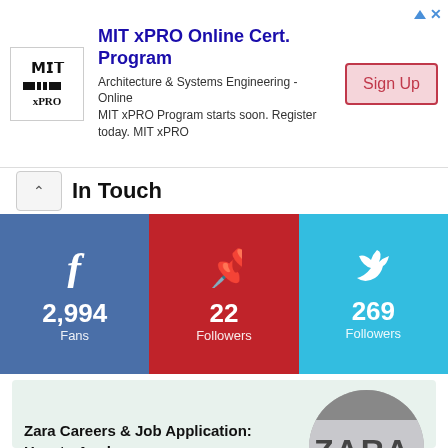[Figure (screenshot): MIT xPRO Online Cert. Program advertisement banner with logo, description text, and Sign Up button]
In Touch
[Figure (infographic): Social media stats bar: Facebook 2,994 Fans, Pinterest 22 Followers, Twitter 269 Followers]
Latest Posts
[Figure (screenshot): Post card with light green background: Zara Careers & Job Application: How to Apply, with circular Zara store sign image]